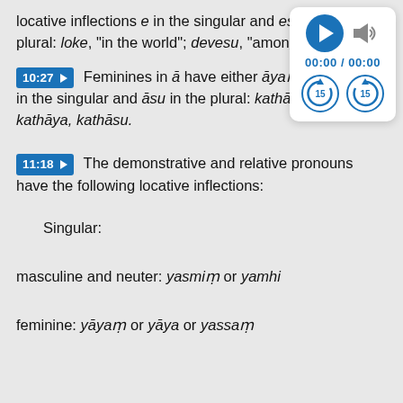locative inflections e in the singular and esu in the plural: loke, "in the world"; devesu, "among..."
[Figure (other): Media player widget showing play button, volume icon, time display 00:00 / 00:00, and skip-back/skip-forward 15-second buttons]
10:27 ▶  Feminines in ā have either āyaṃ or ... in the singular and āsu in the plural: kathā... kathāya, kathāsu.
11:18 ▶  The demonstrative and relative pronouns have the following locative inflections:
Singular:
masculine and neuter: yasmiṃ or yamhi
feminine: yāyaṃ or yāya or yassaṃ